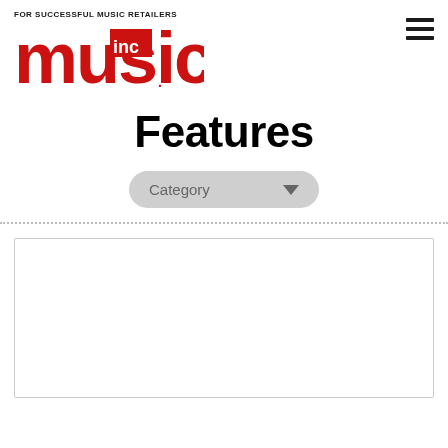FOR SUCCESSFUL MUSIC RETAILERS — Music Inc. logo
Features
[Figure (screenshot): Category dropdown button with downward arrow]
[Figure (screenshot): White content box with light border, representing an article or ad placeholder]